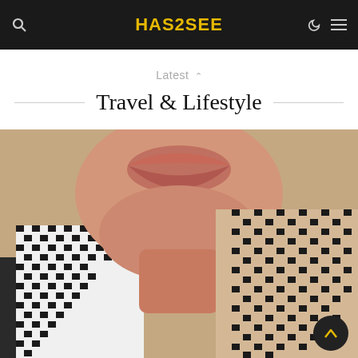HAS2SEE
Latest ∨
Travel & Lifestyle
[Figure (photo): Close-up photo of a person's lower face showing lips and chin, wearing a black and white houndstooth-pattern scarf/keffiyeh]